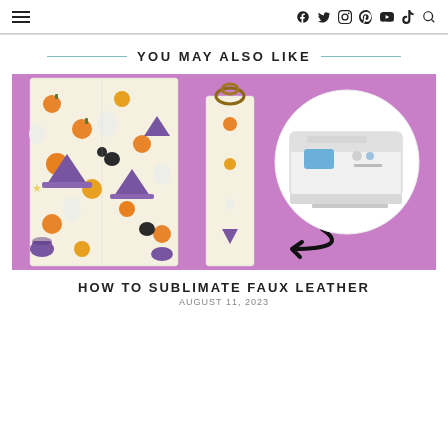≡  f  🐦  📷  📌  ▶  ♪  🔍
YOU MAY ALSO LIKE
[Figure (photo): Photo of Halloween-patterned faux leather items (a book cover and a keychain strap) on a pink/lavender background, with an inset circle showing an Epson printer and a black arrow pointing to the keychain strap.]
HOW TO SUBLIMATE FAUX LEATHER
August 11, 2023